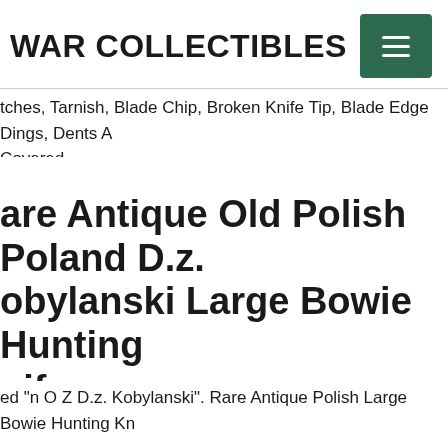WAR COLLECTIBLES
tches, Tarnish, Blade Chip, Broken Knife Tip, Blade Edge Dings, Dents A Covered.
are Antique Old Polish Poland D.z. obylanski Large Bowie Hunting nife
ed "n O Z D.z. Kobylanski". Rare Antique Polish Large Bowie Hunting Kn Knife Is Solid, With No Loose Parts.
06 Winchester Large Bowie Stainless Steel Fixed Blade Knife W/sheath.
e Bowie Knife With Sheath 18 Inch Mirror Polished D2 Stainless Steel Bo Not Rust With Proper Care This Bowie Knife Will Last You For Years Wi Proper Care. Vegetable Oil Or Any Lubricant Oil After Washing. Limited- on Model Eli1997 Is A Stylish And Performance-oriented Combination. Ye